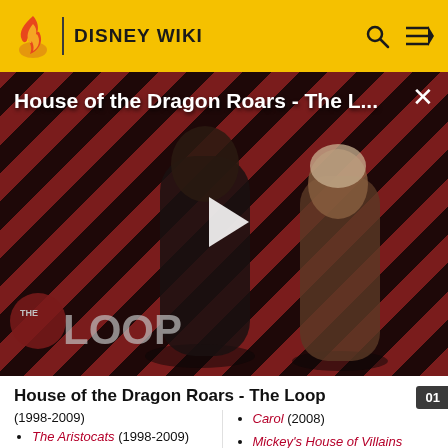DISNEY WIKI
[Figure (screenshot): Video thumbnail for 'House of the Dragon Roars - The Loop' showing two characters against a red diagonal-striped background with a play button in the center and THE LOOP logo overlay]
House of the Dragon Roars - The Loop
(1998-2009)
The Aristocats (1998-2009)
Atlantis: The Lost Empire (2004-2008)
Carol (2008)
Mickey's House of Villains (2003-2004)
Mickey's Magical Christmas: Snowed in at...